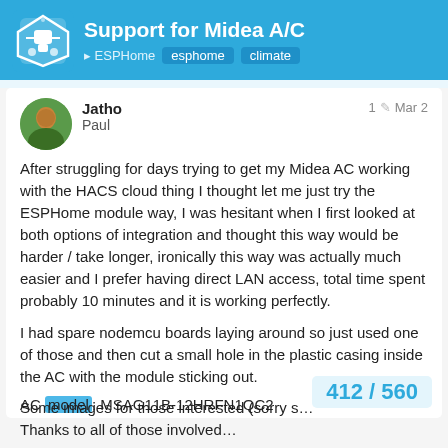Support for Midea A/C | ESPHome | esphome | climate
Jatho Paul | 1 | Mar 2
After struggling for days trying to get my Midea AC working with the HACS cloud thing I thought let me just try the ESPHome module way, I was hesitant when I first looked at both options of integration and thought this way would be harder / take longer, ironically this way was actually much easier and I prefer having direct LAN access, total time spent probably 10 minutes and it is working perfectly.
I had spare nodemcu boards laying around so just used one of those and then cut a small hole in the plastic casing inside the AC with the module sticking out.
AC model: MSAG11B-12HRFN1QC2
Thanks to all of those involved…
412 / 560
Some images for those interested (sorry s…